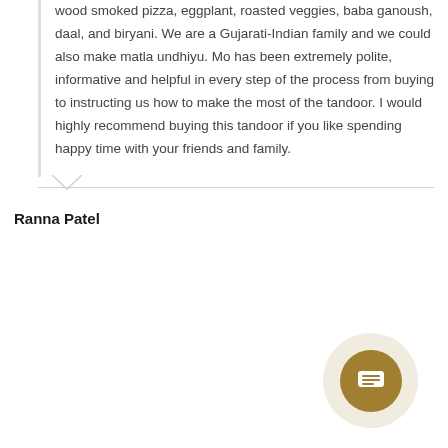wood smoked pizza, eggplant, roasted veggies, baba ganoush, daal, and biryani. We are a Gujarati-Indian family and we could also make matla undhiyu. Mo has been extremely polite, informative and helpful in every step of the process from buying to instructing us how to make the most of the tandoor. I would highly recommend buying this tandoor if you like spending happy time with your friends and family.
Ranna Patel
[Figure (other): A circular chat/message button with a golden-brown inner circle containing a white lines/text icon, surrounded by a light beige outer circle.]